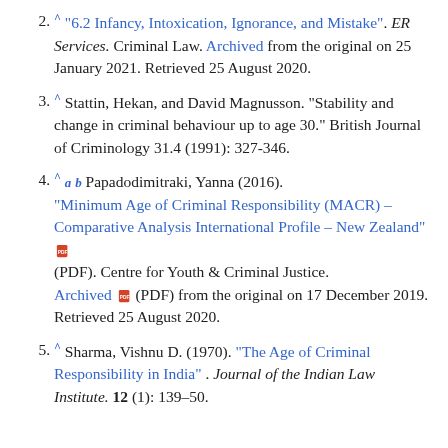2. ^ "6.2 Infancy, Intoxication, Ignorance, and Mistake" . ER Services. Criminal Law. Archived from the original on 25 January 2021. Retrieved 25 August 2020.
3. ^ Stattin, Hekan, and David Magnusson. "Stability and change in criminal behaviour up to age 30." British Journal of Criminology 31.4 (1991): 327-346.
4. ^ a b Papadodimitraki, Yanna (2016). "Minimum Age of Criminal Responsibility (MACR) – Comparative Analysis International Profile – New Zealand" (PDF). Centre for Youth & Criminal Justice. Archived (PDF) from the original on 17 December 2019. Retrieved 25 August 2020.
5. ^ Sharma, Vishnu D. (1970). "The Age of Criminal Responsibility in India" . Journal of the Indian Law Institute. 12 (1): 139–50.